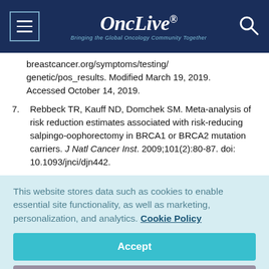OncLive® — Bringing the Global Oncology Community Together
breastcancer.org/symptoms/testing/genetic/pos_results. Modified March 19, 2019. Accessed October 14, 2019.
7. Rebbeck TR, Kauff ND, Domchek SM. Meta-analysis of risk reduction estimates associated with risk-reducing salpingo-oophorectomy in BRCA1 or BRCA2 mutation carriers. J Natl Cancer Inst. 2009;101(2):80-87. doi: 10.1093/jnci/djn442.
This website stores data such as cookies to enable essential site functionality, as well as marketing, personalization, and analytics. Cookie Policy
Accept
Deny